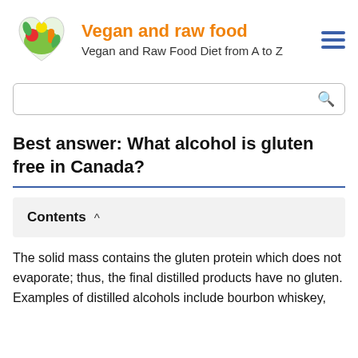Vegan and raw food — Vegan and Raw Food Diet from A to Z
Best answer: What alcohol is gluten free in Canada?
Contents
The solid mass contains the gluten protein which does not evaporate; thus, the final distilled products have no gluten. Examples of distilled alcohols include bourbon whiskey, bourbon triple Irish whiskey, corn whiskey, bourbon bourbon,